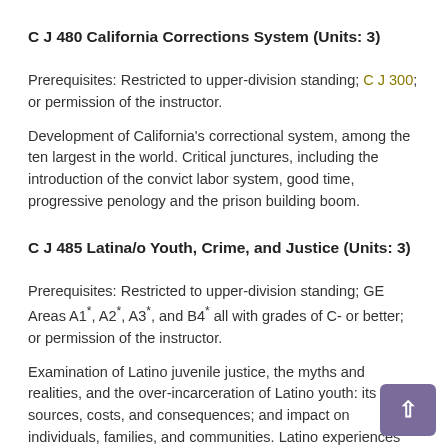C J 480 California Corrections System (Units: 3)
Prerequisites: Restricted to upper-division standing; C J 300; or permission of the instructor.
Development of California's correctional system, among the ten largest in the world. Critical junctures, including the introduction of the convict labor system, good time, progressive penology and the prison building boom.
C J 485 Latina/o Youth, Crime, and Justice (Units: 3)
Prerequisites: Restricted to upper-division standing; GE Areas A1*, A2*, A3*, and B4* all with grades of C- or better; or permission of the instructor.
Examination of Latino juvenile justice, the myths and realities, and the over-incarceration of Latino youth: its sources, costs, and consequences; and impact on individuals, families, and communities. Latino experiences with schooling, police, gangs, drugs, "juvie," and caseworkers. [CSL may be available] (This course is offered as LTNS 485 and C J 485. Students...